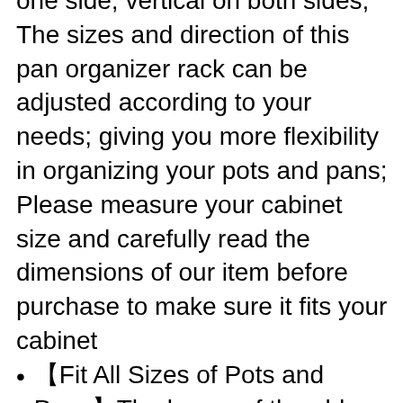one side; vertical on both sides; The sizes and direction of this pan organizer rack can be adjusted according to your needs; giving you more flexibility in organizing your pots and pans; Please measure your cabinet size and carefully read the dimensions of our item before purchase to make sure it fits your cabinet
【Fit All Sizes of Pots and Pans】The layers of the old model don't fit small pots and pans as they tend to fall into the hole; Now we have change